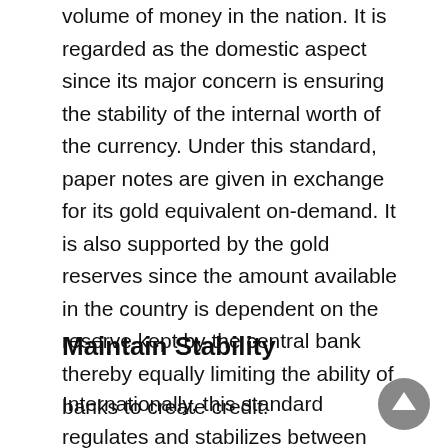serving as the foundation and regulating the volume of money in the nation. It is regarded as the domestic aspect since its major concern is ensuring the stability of the internal worth of the currency. Under this standard, paper notes are given in exchange for its gold equivalent on-demand. It is also supported by the gold reserves since the amount available in the country is dependent on the reserve kept by the central bank thereby equally limiting the ability of banks to create credit.
Maintain Stability
Internationally, this standard regulates and stabilizes between countries the exchange rate